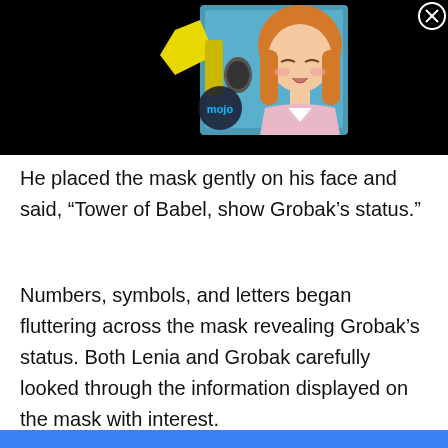[Figure (illustration): Anime-style illustration of a girl with orange hair singing into a microphone, with a yellow item on the left, on a dark/black background. A 'mojo' watermark logo is visible in the lower left of the image. A close (X) button is in the top right corner of the overall panel.]
He placed the mask gently on his face and said, “Tower of Babel, show Grobak’s status.”
Numbers, symbols, and letters began fluttering across the mask revealing Grobak’s status. Both Lenia and Grobak carefully looked through the information displayed on the mask with interest.